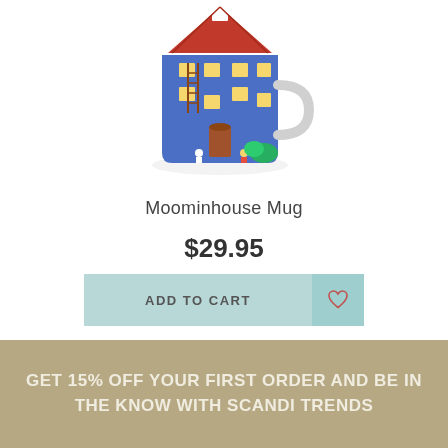[Figure (photo): A ceramic mug shaped like the Moomin house, blue with red roof and illustrated characters on its surface, white handle visible on right side.]
Moominhouse Mug
$29.95
ADD TO CART
GET 15% OFF YOUR FIRST ORDER AND BE IN THE KNOW WITH SCANDI TRENDS